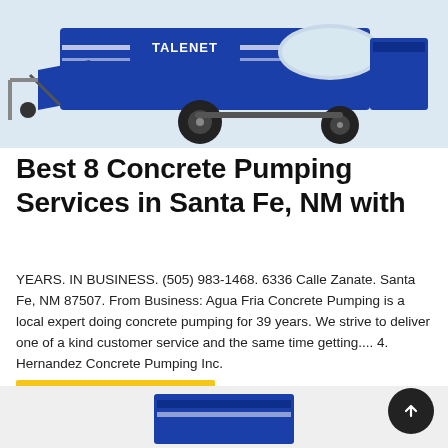[Figure (photo): Blue Talenet concrete pump machine on a light background]
Best 8 Concrete Pumping Services in Santa Fe, NM with
YEARS. IN BUSINESS. (505) 983-1468. 6336 Calle Zanate. Santa Fe, NM 87507. From Business: Agua Fria Concrete Pumping is a local expert doing concrete pumping for 39 years. We strive to deliver one of a kind customer service and the same time getting.... 4. Hernandez Concrete Pumping Inc.
Learn More
[Figure (photo): Partial view of another concrete pump machine at the bottom of the page]